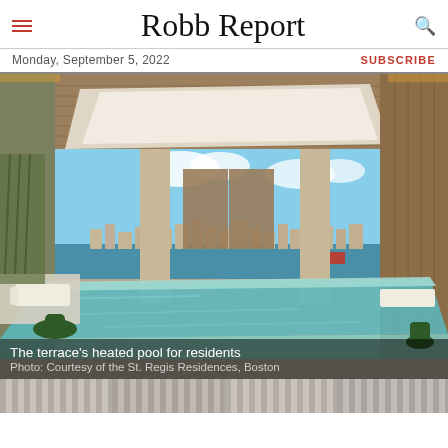Robb Report
Monday, September 5, 2022
SUBSCRIBE
[Figure (photo): Luxury indoor/outdoor heated pool terrace at St. Regis Residences Boston, with wood-paneled ceiling, turquoise pool, lounge chairs, and harbor view with city skyline in background.]
The terrace's heated pool for residents
Photo: Courtesy of the St. Regis Residences, Boston